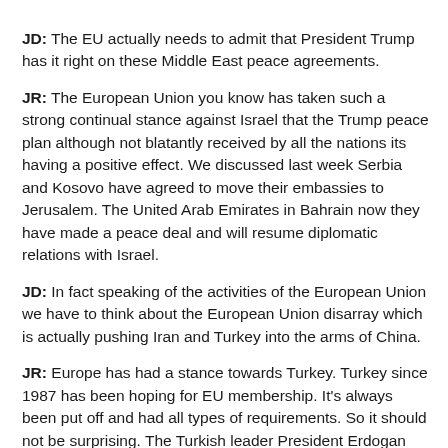JD: The EU actually needs to admit that President Trump has it right on these Middle East peace agreements.
JR: The European Union you know has taken such a strong continual stance against Israel that the Trump peace plan although not blatantly received by all the nations its having a positive effect. We discussed last week Serbia and Kosovo have agreed to move their embassies to Jerusalem. The United Arab Emirates in Bahrain now they have made a peace deal and will resume diplomatic relations with Israel.
JD: In fact speaking of the activities of the European Union we have to think about the European Union disarray which is actually pushing Iran and Turkey into the arms of China.
JR: Europe has had a stance towards Turkey. Turkey since 1987 has been hoping for EU membership. It's always been put off and had all types of requirements. So it should not be surprising. The Turkish leader President Erdogan doesn't really have a choice because he knows they have been